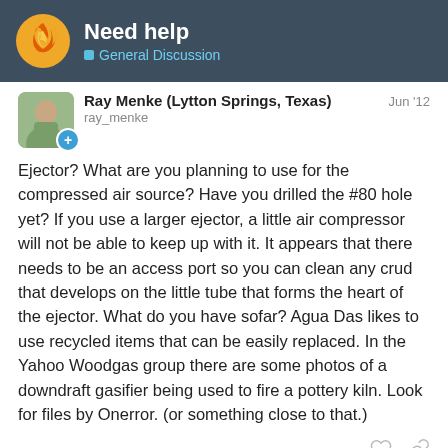Need help — General Discussion
Ray Menke (Lytton Springs, Texas)
ray_menke
Jun '12
Ejector? What are you planning to use for the compressed air source? Have you drilled the #80 hole yet? If you use a larger ejector, a little air compressor will not be able to keep up with it. It appears that there needs to be an access port so you can clean any crud that develops on the little tube that forms the heart of the ejector. What do you have sofar? Agua Das likes to use recycled items that can be easily replaced. In the Yahoo Woodgas group there are some photos of a downdraft gasifier being used to fire a pottery kiln. Look for files by Onerror. (or something close to that.)
Suggested Topics